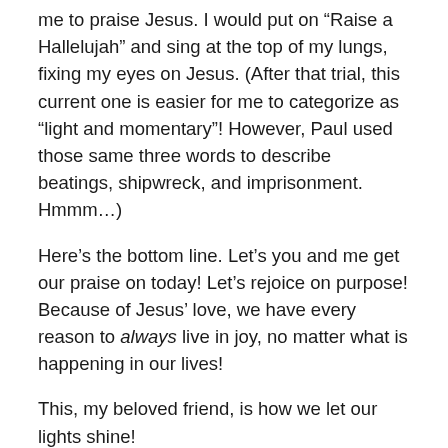me to praise Jesus. I would put on “Raise a Hallelujah” and sing at the top of my lungs, fixing my eyes on Jesus. (After that trial, this current one is easier for me to categorize as “light and momentary”! However, Paul used those same three words to describe beatings, shipwreck, and imprisonment. Hmmm…)
Here’s the bottom line. Let’s you and me get our praise on today! Let’s rejoice on purpose! Because of Jesus’ love, we have every reason to always live in joy, no matter what is happening in our lives!
This, my beloved friend, is how we let our lights shine!
“Even though the fig trees have no blossoms,
and there are no grapes on the vines;
even though the olive crop fails,
and the fields lie empty and barren;